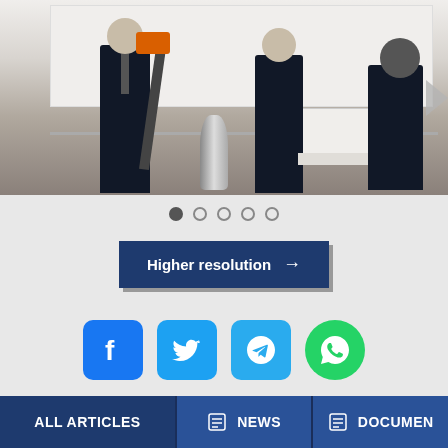[Figure (photo): A groundbreaking ceremony scene with people in dark suits, one holding a shovel with orange handle, a silver trophy-like object in the center, and architectural renderings in the background.]
[Figure (infographic): Navigation dots: 5 circles, first filled/active, rest outlined]
[Figure (infographic): Higher resolution button with right arrow, dark navy background]
[Figure (infographic): Social media icons: Facebook, Twitter, Telegram, WhatsApp]
[Figure (infographic): Bottom navigation bar with ALL ARTICLES, NEWS, and DOCUMENTS buttons]